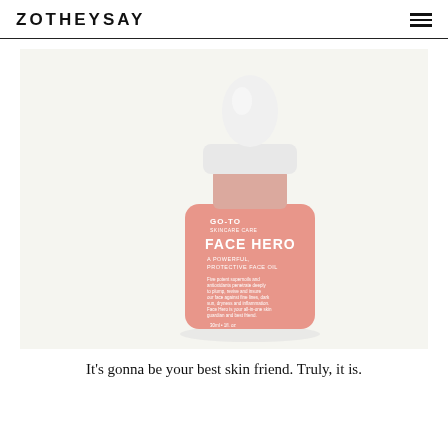ZOTHEYSAY
[Figure (photo): A peach/salmon-colored dropper bottle of Go-To skincare Face Hero face oil product, photographed against a white background. The bottle has a white dropper cap and white label text reading FACE HERO A POWERFUL PROTECTIVE FACE OIL.]
It's gonna be your best skin friend. Truly, it is.